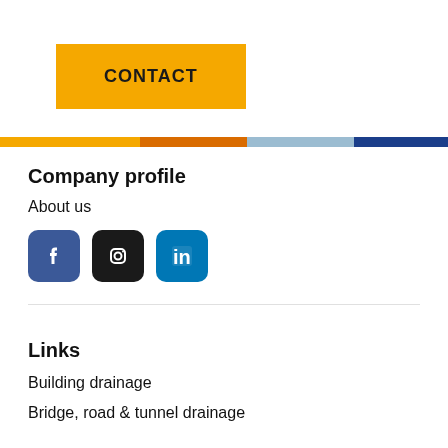CONTACT
Company profile
About us
[Figure (infographic): Social media icons: Facebook (blue), Instagram (black), LinkedIn (light blue)]
Links
Building drainage
Bridge, road & tunnel drainage